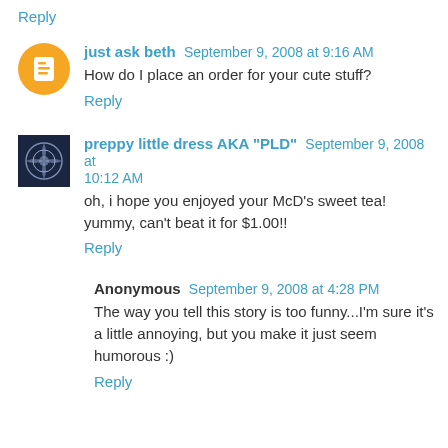Reply
just ask beth September 9, 2008 at 9:16 AM
How do I place an order for your cute stuff?
Reply
preppy little dress AKA "PLD" September 9, 2008 at 10:12 AM
oh, i hope you enjoyed your McD's sweet tea! yummy, can't beat it for $1.00!!
Reply
Anonymous September 9, 2008 at 4:28 PM
The way you tell this story is too funny...I'm sure it's a little annoying, but you make it just seem humorous :)
Reply